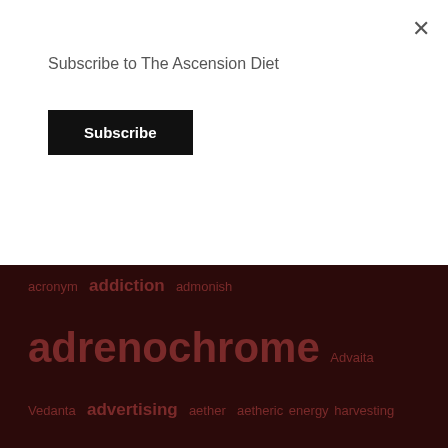×
Subscribe to The Ascension Diet
Subscribe
acronym addiction admonish adrenochrome Advaita Vedanta advertising aether aetheric energy harvesting agenda Agenda21 Agenda2030 Agenda2050 agent orange agricultural industry AI AI is Satan air air force Akashic record alcoholism Alex Jones alien deception aliens Aliens are demons aliens are fallen angels aliens are the fallen angels alkaline all goverment is satanic all government is Luciferian All government is Nephilim all governments are nephilim ALL IN THE FAMILY alphabet agencies alphabet